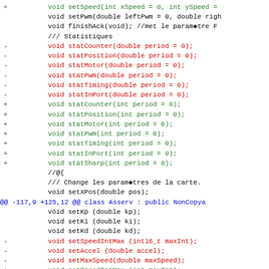Code diff showing changes to C++ class methods: setSpeed, setPwm, finishAck, stat functions (statCounter, statPosition, statMotor, statPwm, statTiming, statInPort) changed from double to int period parameters, statSharp added, setSpeedIntMax/setAccel/setMaxSpeed changed from double to int, getAccel added.